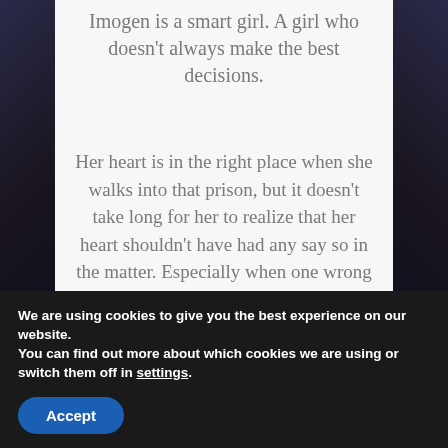Imogen is a smart girl. A girl who doesn't always make the best decisions.
Her heart is in the right place when she walks into that prison, but it doesn't take long for her to realize that her heart shouldn't have had any say so in the matter. Especially when one wrong move lands her in the arms of a scarred man that looks frightening enough to scare any sane woman away.
We are using cookies to give you the best experience on our website.
You can find out more about which cookies we are using or switch them off in settings.
Accept